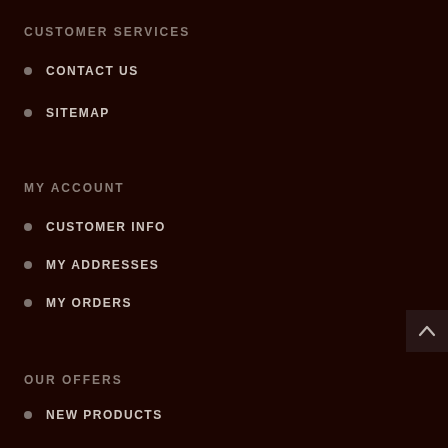CUSTOMER SERVICES
CONTACT US
SITEMAP
MY ACCOUNT
CUSTOMER INFO
MY ADDRESSES
MY ORDERS
OUR OFFERS
NEW PRODUCTS
RECENTLY VIEWED